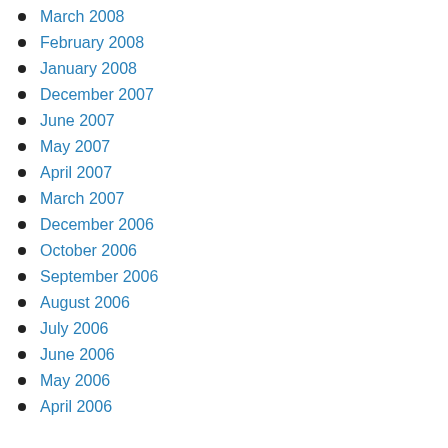March 2008
February 2008
January 2008
December 2007
June 2007
May 2007
April 2007
March 2007
December 2006
October 2006
September 2006
August 2006
July 2006
June 2006
May 2006
April 2006